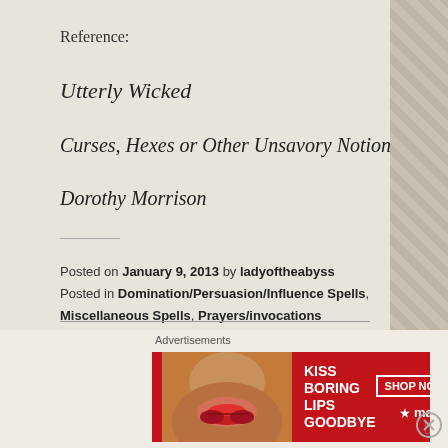Reference:
Utterly Wicked
Curses, Hexes or Other Unsavory Notions
Dorothy Morrison
Posted on January 9, 2013 by ladyoftheabyss
Posted in Domination/Persuasion/Influence Spells, Miscellaneous Spells, Prayers/invocations
Tagged Articles, Crowley, Earth, Magick, Moon, Recreation, Religion and Spirituality, Shopping.
[Figure (other): Advertisement banner for Macy's: 'KISS BORING LIPS GOODBYE' with SHOP NOW button and Macy's logo]